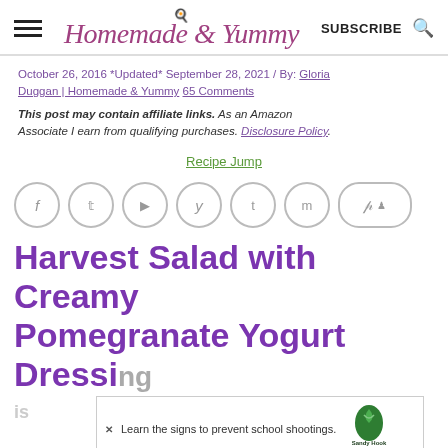Homemade & Yummy — SUBSCRIBE
October 26, 2016 *Updated* September 28, 2021 / By: Gloria Duggan | Homemade & Yummy 65 Comments
This post may contain affiliate links. As an Amazon Associate I earn from qualifying purchases. Disclosure Policy.
Recipe Jump
[Figure (infographic): Social sharing icons: Facebook, Twitter, Flipboard, Yummly, Tumblr, Mix, Pinterest (pill shape), heart save button, purple search button]
Harvest Salad with Creamy Pomegranate Yogurt Dressing
[Figure (infographic): Advertisement banner: Learn the signs to prevent school shootings. Sandy Hook Promise logo.]